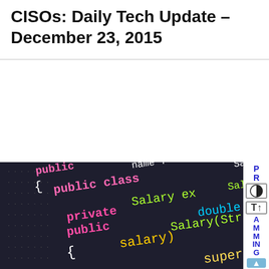CISOs: Daily Tech Update – December 23, 2015
[Figure (screenshot): Dark-themed code editor screenshot showing Java code with colorful syntax highlighting: pink/magenta 'public', 'private', 'public class'; cyan 'double'; green 'Salary', 'salary)'; white '{', variable names; yellow 'super(name,'. Visible code: public { name : Salary.j public class Salary ex private double sa public Salary(Str salary) { super(name,]